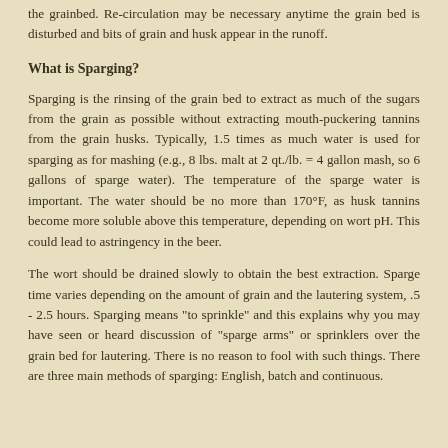the grainbed. Re-circulation may be necessary anytime the grain bed is disturbed and bits of grain and husk appear in the runoff.
What is Sparging?
Sparging is the rinsing of the grain bed to extract as much of the sugars from the grain as possible without extracting mouth-puckering tannins from the grain husks. Typically, 1.5 times as much water is used for sparging as for mashing (e.g., 8 lbs. malt at 2 qt./lb. = 4 gallon mash, so 6 gallons of sparge water). The temperature of the sparge water is important. The water should be no more than 170°F, as husk tannins become more soluble above this temperature, depending on wort pH. This could lead to astringency in the beer.
The wort should be drained slowly to obtain the best extraction. Sparge time varies depending on the amount of grain and the lautering system, .5 - 2.5 hours. Sparging means "to sprinkle" and this explains why you may have seen or heard discussion of "sparge arms" or sprinklers over the grain bed for lautering. There is no reason to fool with such things. There are three main methods of sparging: English, batch and continuous.